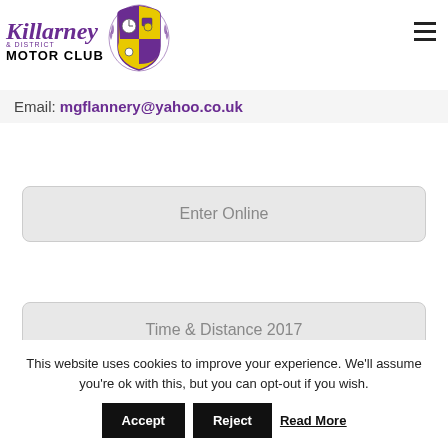[Figure (logo): Killarney & District Motor Club logo with shield/crest emblem]
Email: mgflannery@yahoo.co.uk
Enter Online
Time & Distance 2017
Regs
This website uses cookies to improve your experience. We'll assume you're ok with this, but you can opt-out if you wish.
Accept  Reject  Read More